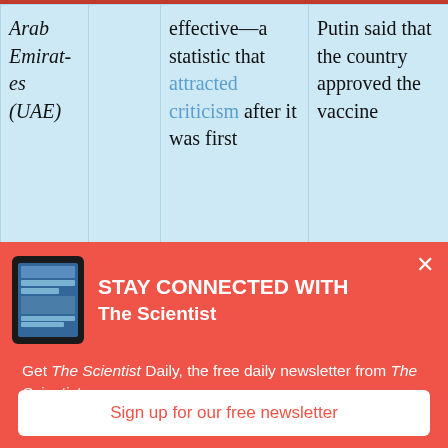| Country |  | Statistic | Putin |
| --- | --- | --- | --- |
| Arab Emirates (UAE) |  | effective—a statistic that attracted criticism after it was first | Putin said that the country approved the vaccine |
[Figure (screenshot): Newsletter signup banner for The Scientist with tablet device image, headline 'STAY CONNECTED WITH The Scientist', body text about The Scientist Daily newsletter, and a 'Sign up for our free newsletter' button]